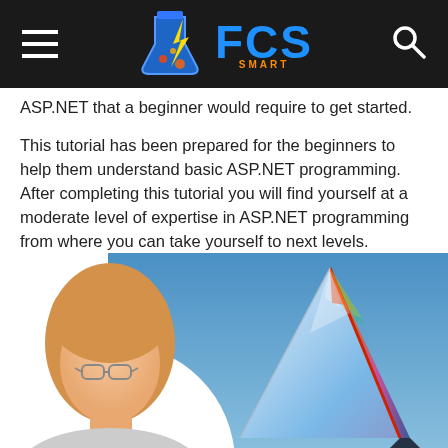FCS SMART — site header with hamburger menu and search icon
ASP.NET that a beginner would require to get started.
This tutorial has been prepared for the beginners to help them understand basic ASP.NET programming. After completing this tutorial you will find yourself at a moderate level of expertise in ASP.NET programming from where you can take yourself to next levels.
[Figure (photo): A composite image showing a woman with blonde hair and glasses on the left, and a crystal glass prism/pyramid reflecting rainbow colors on a blue background on the right.]